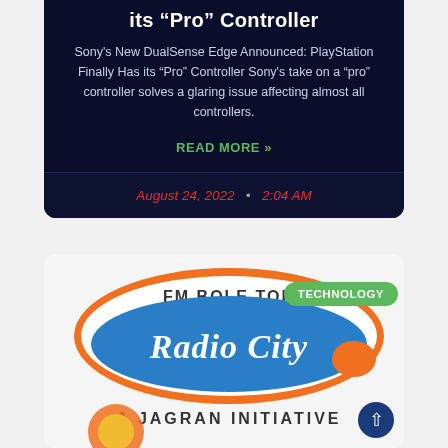its "Pro" Controller
Sony's New DualSense Edge Announced: PlayStation Finally Has its "Pro" Controller Sony's take on a "pro" controller solves a glaring issue affecting almost all controllers.
READ MORE »
August 24, 2022 • 2:04 AM
[Figure (logo): Radio City logo with orange pill shape border, blue background, white italic Radio City text, FM BOLE TOH text, A JAGRAN INITIATIVE text below, with a green TECHNOLOGY badge overlay in top right.]